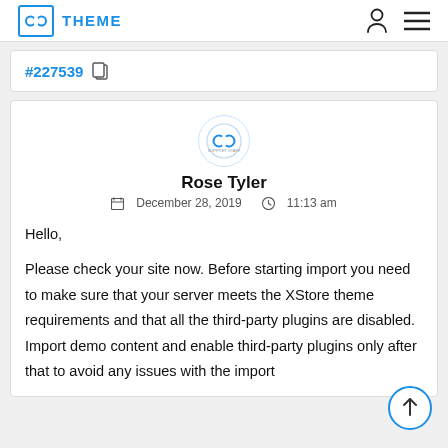THEME
#227539
Rose Tyler
December 28, 2019  11:13 am

Hello,

Please check your site now. Before starting import you need to make sure that your server meets the XStore theme requirements and that all the third-party plugins are disabled. Import demo content and enable third-party plugins only after that to avoid any issues with the import